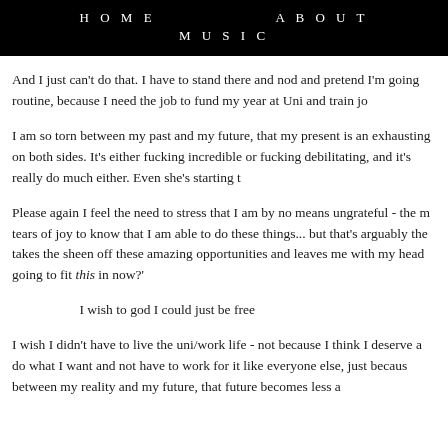HOME   ABOUT   MUSIC
And I just can't do that. I have to stand there and nod and pretend I'm going routine, because I need the job to fund my year at Uni and train jo
I am so torn between my past and my future, that my present is an exhausting on both sides. It's either fucking incredible or fucking debilitating, and it's really do much either. Even she's starting t
Please again I feel the need to stress that I am by no means ungrateful - the m tears of joy to know that I am able to do these things... but that's arguably the takes the sheen off these amazing opportunities and leaves me with my head going to fit this in now?'
I wish to god I could just be free
I wish I didn't have to live the uni/work life - not because I think I deserve a do what I want and not have to work for it like everyone else, just becaus between my reality and my future, that future becomes less a